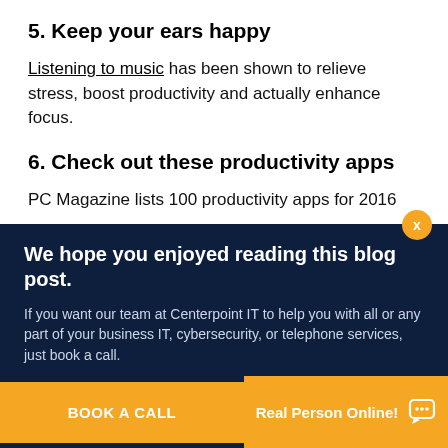5. Keep your ears happy
Listening to music has been shown to relieve stress, boost productivity and actually enhance focus.
6. Check out these productivity apps
PC Magazine lists 100 productivity apps for 2016
We hope you enjoyed reading this blog post.
If you want our team at Centerpoint IT to help you with all or any part of your business IT, cybersecurity, or telephone services, just book a call.
BOOK A CALL
Real Person Online!